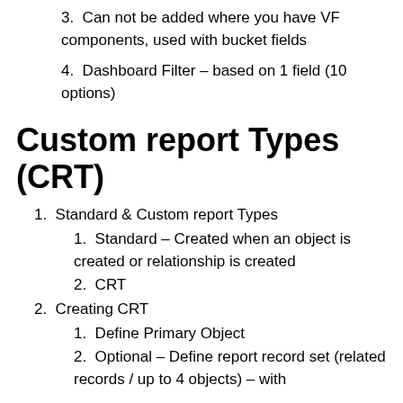3. Can not be added where you have VF components, used with bucket fields
4. Dashboard Filter – based on 1 field (10 options)
Custom report Types (CRT)
1. Standard & Custom report Types
1. Standard – Created when an object is created or relationship is created
2. CRT
2. Creating CRT
1. Define Primary Object
2. Optional – Define report record set (related records / up to 4 objects) – with